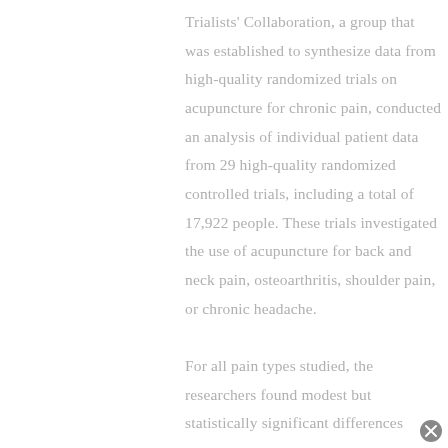Trialists' Collaboration, a group that was established to synthesize data from high-quality randomized trials on acupuncture for chronic pain, conducted an analysis of individual patient data from 29 high-quality randomized controlled trials, including a total of 17,922 people. These trials investigated the use of acupuncture for back and neck pain, osteoarthritis, shoulder pain, or chronic headache.

For all pain types studied, the researchers found modest but statistically significant differences